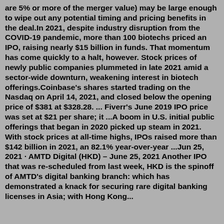are 5% or more of the merger value) may be large enough to wipe out any potential timing and pricing benefits in the deal.In 2021, despite industry disruption from the COVID-19 pandemic, more than 100 biotechs priced an IPO, raising nearly $15 billion in funds. That momentum has come quickly to a halt, however. Stock prices of newly public companies plummeted in late 2021 amid a sector-wide downturn, weakening interest in biotech offerings.Coinbase's shares started trading on the Nasdaq on April 14, 2021, and closed below the opening price of $381 at $328.28. ... Fiverr's June 2019 IPO price was set at $21 per share; it ...A boom in U.S. initial public offerings that began in 2020 picked up steam in 2021. With stock prices at all-time highs, IPOs raised more than $142 billion in 2021, an 82.1% year-over-year ...Jun 25, 2021 · AMTD Digital (HKD) – June 25, 2021 Another IPO that was re-scheduled from last week, HKD is the spinoff of AMTD's digital banking branch: which has demonstrated a knack for securing rare digital banking licenses in Asia; with Hong Kong...